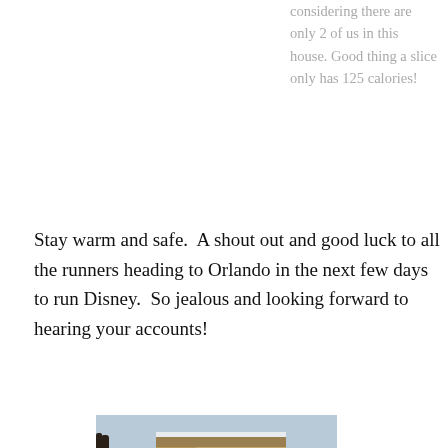considering there are only 2 of us in this house. Good thing a slice only has 125 calories!
Stay warm and safe.  A shout out and good luck to all the runners heading to Orlando in the next few days to run Disney.  So jealous and looking forward to hearing your accounts!
[Figure (photo): A multi-story brick apartment building covered in snow, with snow-covered cars parked in front and a bare tree on the left side.]
I would run a marathon right now just